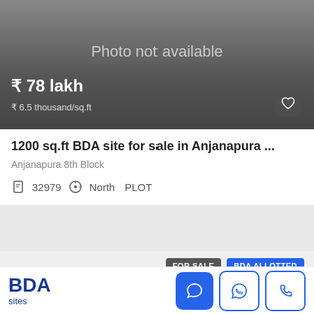[Figure (photo): Photo not available placeholder with dark gradient background, price ₹ 78 lakh, rate ₹ 6.5 thousand/sq.ft, and heart/save button]
1200 sq.ft BDA site for sale in Anjanapura ...
Anjanapura 8th Block
32979  North  PLOT
FOR SALE  BDA ALLOTTED
[Figure (logo): BDA sites logo with chat, WhatsApp and phone action buttons]